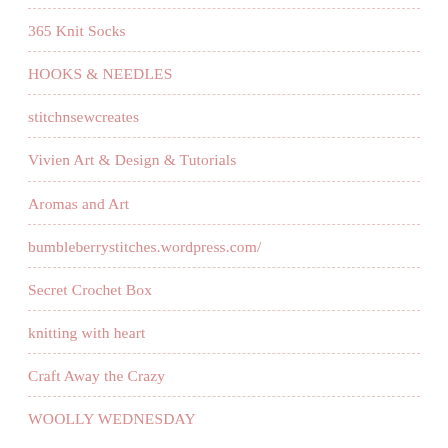365 Knit Socks
HOOKS & NEEDLES
stitchnsewcreates
Vivien Art & Design & Tutorials
Aromas and Art
bumbleberrystitches.wordpress.com/
Secret Crochet Box
knitting with heart
Craft Away the Crazy
WOOLLY WEDNESDAY